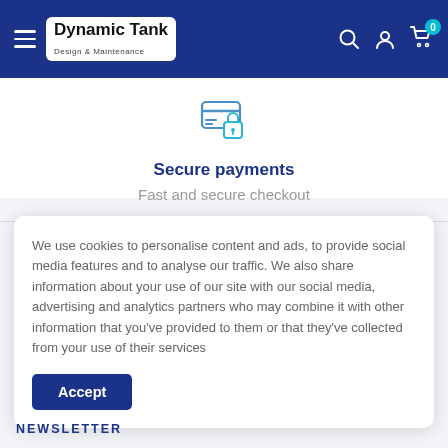Dynamic Tank Design & Maintenance — navigation bar with hamburger menu, logo, search, account, cart (0)
[Figure (illustration): Secure payment icon: credit card with padlock in teal/blue outline style]
Secure payments
Fast and secure checkout
We use cookies to personalise content and ads, to provide social media features and to analyse our traffic. We also share information about your use of our site with our social media, advertising and analytics partners who may combine it with other information that you've provided to them or that they've collected from your use of their services
Accept
NEWSLETTER